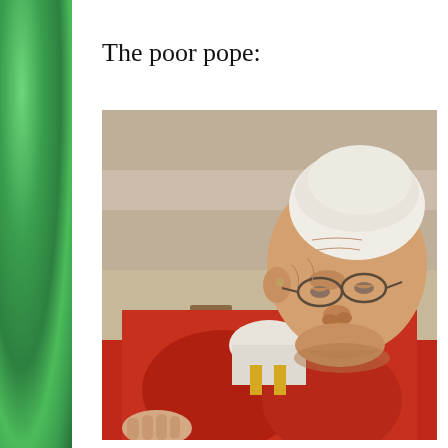The poor pope:
[Figure (photo): An elderly man wearing a white zucchetto (skullcap) and red vestments, looking downward, with glasses on. He appears to be Pope Francis seated in a religious setting with a wooden furniture piece visible in the background and a beige/tan wall.]